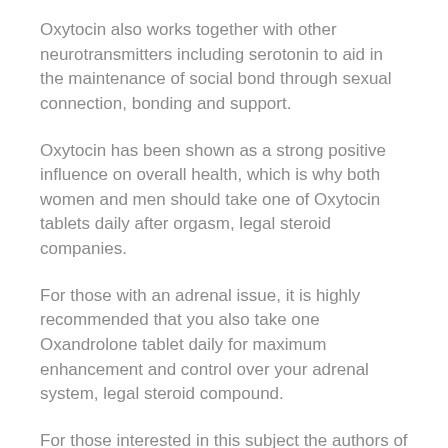Oxytocin also works together with other neurotransmitters including serotonin to aid in the maintenance of social bond through sexual connection, bonding and support.
Oxytocin has been shown as a strong positive influence on overall health, which is why both women and men should take one of Oxytocin tablets daily after orgasm, legal steroid companies.
For those with an adrenal issue, it is highly recommended that you also take one Oxandrolone tablet daily for maximum enhancement and control over your adrenal system, legal steroid compound.
For those interested in this subject the authors of this paper and several other publications have released comprehensive information about this topic.